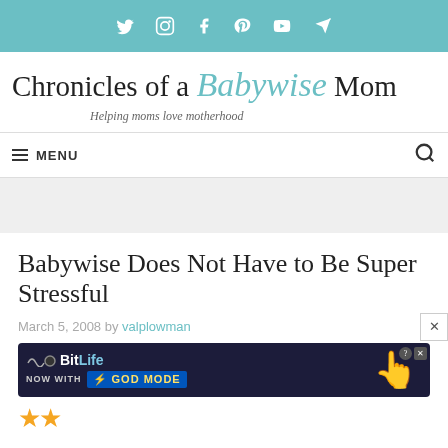Social media icons: Twitter, Instagram, Facebook, Pinterest, YouTube, Telegram
Chronicles of a Babywise Mom
Helping moms love motherhood
MENU
Babywise Does Not Have to Be Super Stressful
March 5, 2008 by valplowman
[Figure (screenshot): BitLife advertisement banner: NOW WITH GOD MODE, showing a hand pointing with lightning bolt graphic]